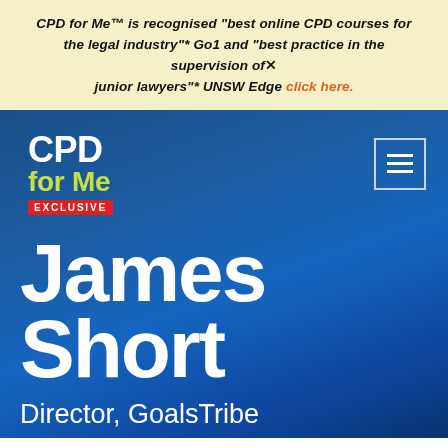CPD for Me™ is recognised "best online CPD courses for the legal industry"* Go1 and "best practice in the supervision of junior lawyers"* UNSW Edge click here.
[Figure (logo): CPD for Me Exclusive logo in white and yellow-green text on blue background with red EXCLUSIVE badge]
James Short
Director, GoalsTribe